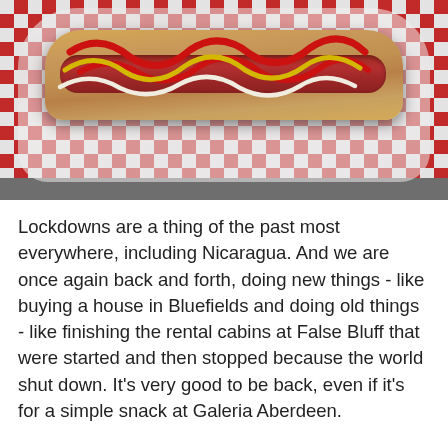[Figure (photo): A hot dog loaded with ketchup, mustard, and mayonnaise in a red and white checkered paper food tray, viewed from above on a dark surface.]
Lockdowns are a thing of the past most everywhere, including Nicaragua. And we are once again back and forth, doing new things - like buying a house in Bluefields and doing old things - like finishing the rental cabins at False Bluff that were started and then stopped because the world shut down. It's very good to be back, even if it's for a simple snack at Galeria Aberdeen.
30 December 2018
Salt tolerant oleander
One of the most disappointing things I learned...